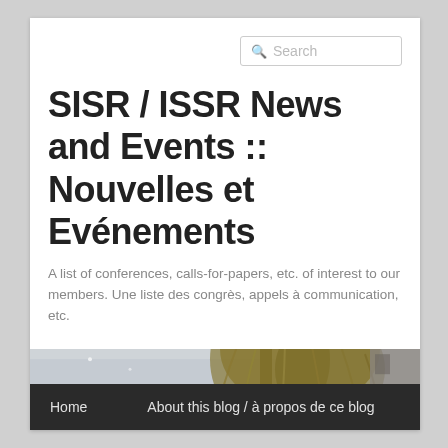SISR / ISSR News and Events :: Nouvelles et Evénements
A list of conferences, calls-for-papers, etc. of interest to our members. Une liste des congrès, appels à communication, etc.
[Figure (photo): Outdoor winter scene showing a large weeping willow tree with snow, near a body of water]
Home    About this blog / à propos de ce blog